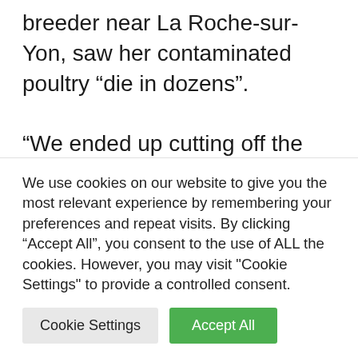breeder near La Roche-sur-Yon, saw her contaminated poultry “die in dozens”.

“We ended up cutting off the distribution of food and ventilation. We had a sleepless night. It was impossible to sleep as we knew what was going on in our buildings. (The next day) we discovered a floor strewn with corpses, “she says. But “we should be done killing our chickens. By avoiding contact with
We use cookies on our website to give you the most relevant experience by remembering your preferences and repeat visits. By clicking “Accept All”, you consent to the use of ALL the cookies. However, you may visit "Cookie Settings" to provide a controlled consent.